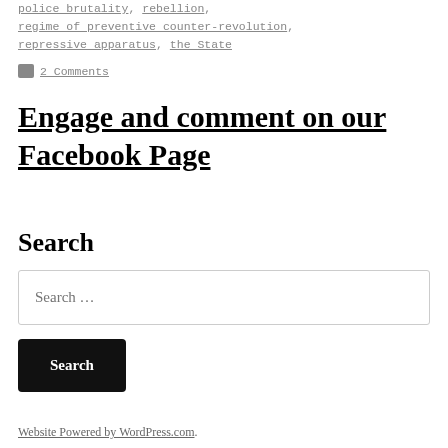police brutality, rebellion, regime of preventive counter-revolution, repressive apparatus, the State
2 Comments
Engage and comment on our Facebook Page
Search
Search …
Search
Website Powered by WordPress.com.